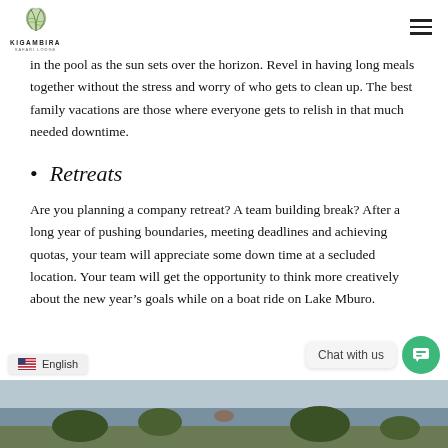KIGAMBIRA SAFARI LODGE
in the pool as the sun sets over the horizon. Revel in having long meals together without the stress and worry of who gets to clean up. The best family vacations are those where everyone gets to relish in that much needed downtime.
Retreats
Are you planning a company retreat? A team building break? After a long year of pushing boundaries, meeting deadlines and achieving quotas, your team will appreciate some down time at a secluded location. Your team will get the opportunity to think more creatively about the new year’s goals while on a boat ride on Lake Mburo.
[Figure (photo): Partial view of a photo at the bottom of the page, appears to show a scenic outdoor/water scene related to Kigambira Safari Lodge]